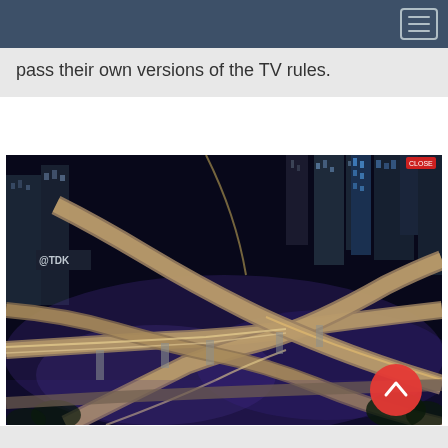pass their own versions of the TV rules.
[Figure (photo): Aerial night view of a large urban highway interchange with light trails from vehicles, illuminated by purple/blue city lights. Tall buildings visible in the background. A TDK billboard sign visible on the left. Red scroll-to-top button overlay in bottom right.]